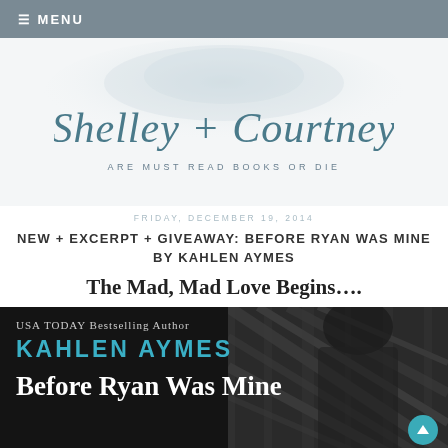≡ MENU
[Figure (logo): Shelley + Courtney are Must Read Books or Die blog logo with cursive script text on a white/cloud watercolor background]
FRIDAY, DECEMBER 19, 2014
NEW + EXCERPT + GIVEAWAY: BEFORE RYAN WAS MINE BY KAHLEN AYMES
The Mad, Mad Love Begins….
[Figure (photo): Book cover for 'Before Ryan Was Mine' by Kahlen Aymes (USA Today Bestselling Author). Dark background with a figure in plaid on the right. Title in large white serif font, author name in teal/blue capitals.]